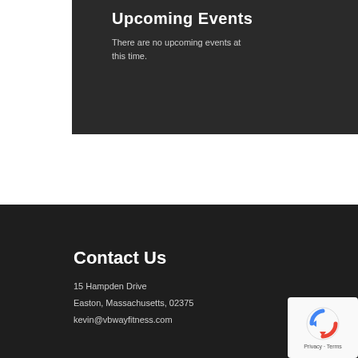Upcoming Events
There are no upcoming events at this time.
Contact Us
15 Hampden Drive
Easton, Massachusetts, 02375
kevin@vbwayfitness.com
[Figure (logo): reCAPTCHA badge with Privacy and Terms text]